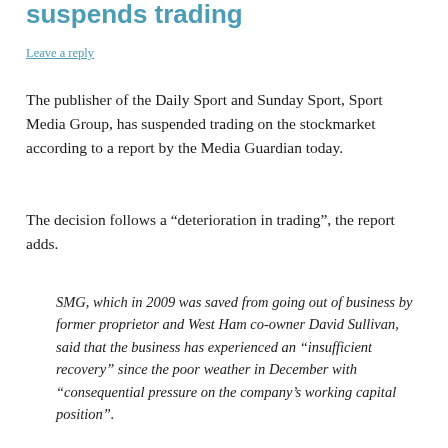suspends trading
Leave a reply
The publisher of the Daily Sport and Sunday Sport, Sport Media Group, has suspended trading on the stockmarket according to a report by the Media Guardian today.
The decision follows a “deterioration in trading”, the report adds.
SMG, which in 2009 was saved from going out of business by former proprietor and West Ham co-owner David Sullivan, said that the business has experienced an “insufficient recovery” since the poor weather in December with “consequential pressure on the company’s working capital position”.